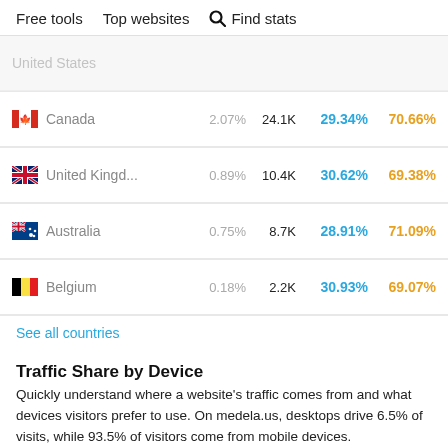Free tools   Top websites   Find stats
| Country | % | Visits | Mobile % | Desktop % |
| --- | --- | --- | --- | --- |
| United States |  |  |  |  |
| Canada | 2.07% | 24.1K | 29.34% | 70.66% |
| United Kingd... | 0.89% | 10.4K | 30.62% | 69.38% |
| Australia | 0.75% | 8.7K | 28.91% | 71.09% |
| Belgium | 0.18% | 2.2K | 30.93% | 69.07% |
See all countries
Traffic Share by Device
Quickly understand where a website's traffic comes from and what devices visitors prefer to use. On medela.us, desktops drive 6.5% of visits, while 93.5% of visitors come from mobile devices.